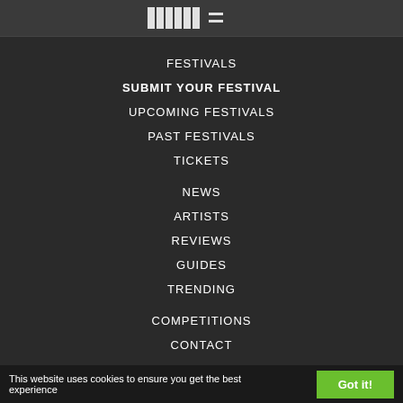TRIBAL [logo]
FESTIVALS
SUBMIT YOUR FESTIVAL
UPCOMING FESTIVALS
PAST FESTIVALS
TICKETS
NEWS
ARTISTS
REVIEWS
GUIDES
TRENDING
COMPETITIONS
CONTACT
This website uses cookies to ensure you get the best experience   Got it!